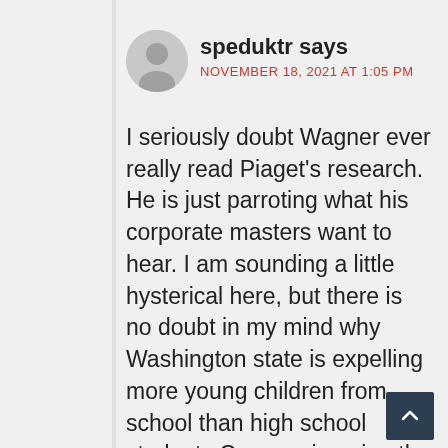speduktr says
NOVEMBER 18, 2021 AT 1:05 PM
I seriously doubt Wagner ever really read Piaget's research. He is just parroting what his corporate masters want to hear. I am sounding a little hysterical here, but there is no doubt in my mind why Washington state is expelling more young children from school than high school students Can you imagine the pressure it takes to get those curious little creatures to crack? What is wrong with these people!?